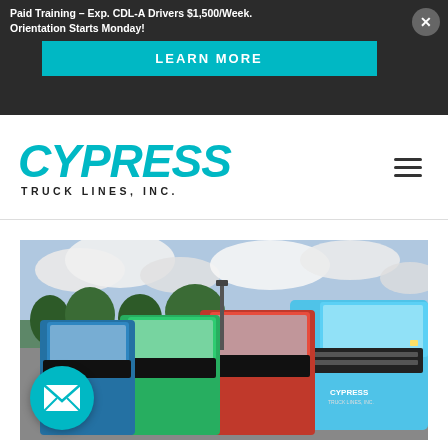Paid Training - Exp. CDL-A Drivers $1,500/Week. Orientation Starts Monday!
LEARN MORE
[Figure (logo): Cypress Truck Lines, Inc. logo with teal italic bold text and hamburger menu icon]
[Figure (photo): Row of colorful semi-trucks (blue, red, green) parked in a lot under a partly cloudy sky. The rightmost truck has Cypress branding visible.]